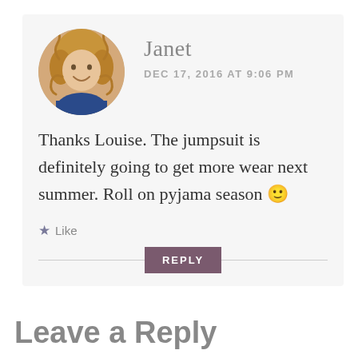[Figure (photo): Circular avatar photo of a woman with curly blonde hair smiling, wearing a blue top]
Janet
DEC 17, 2016 AT 9:06 PM
Thanks Louise. The jumpsuit is definitely going to get more wear next summer. Roll on pyjama season 🙂
Like
REPLY
Leave a Reply